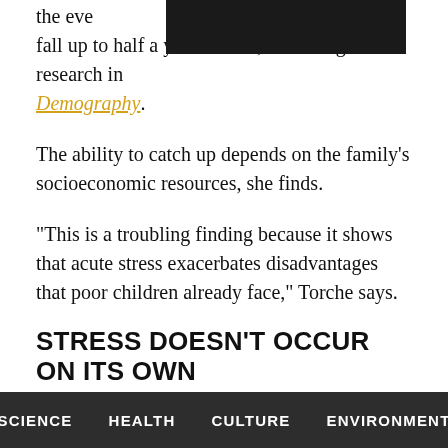the eve[REDACTED]elp can fall up to half a year behind, according to the research in Demography.
The ability to catch up depends on the family's socioeconomic resources, she finds.
“This is a troubling finding because it shows that acute stress exacerbates disadvantages that poor children already face,” Torche says.
STRESS DOESN’T OCCUR ON ITS OWN
While previous research has examined the effects of
SCIENCE   HEALTH   CULTURE   ENVIRONMENT